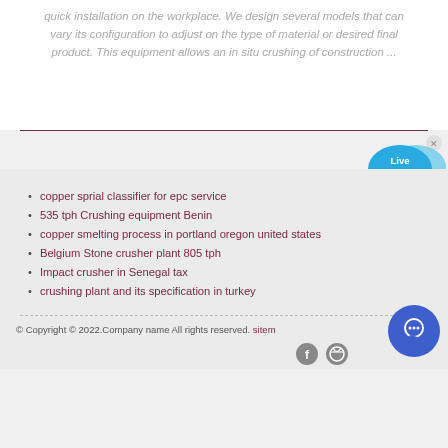quick installation on the workplace. We design several models that can vary its configuration to adjust on the type of material or desired final product. This equipment allows an in situ crushing of construction ...
copper sprial classifier for epc service
535 tph Crushing equipment Benin
copper smelting process in portland oregon united states
Belgium Stone crusher plant 805 tph
Impact crusher in Senegal tax
crushing plant and its specification in turkey
© Copyright © 2022.Company name All rights reserved. sitemap